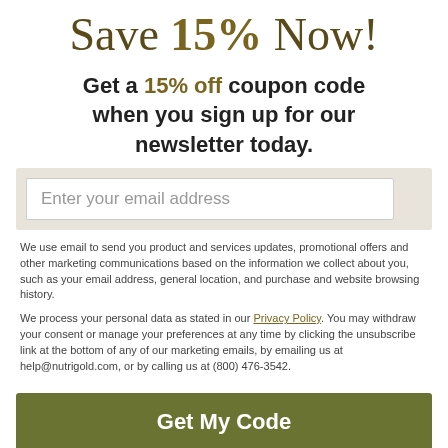Save 15% Now!
Get a 15% off coupon code when you sign up for our newsletter today.
Enter your email address
We use email to send you product and services updates, promotional offers and other marketing communications based on the information we collect about you, such as your email address, general location, and purchase and website browsing history.
We process your personal data as stated in our Privacy Policy. You may withdraw your consent or manage your preferences at any time by clicking the unsubscribe link at the bottom of any of our marketing emails, by emailing us at help@nutrigold.com, or by calling us at (800) 476-3542.
Get My Code